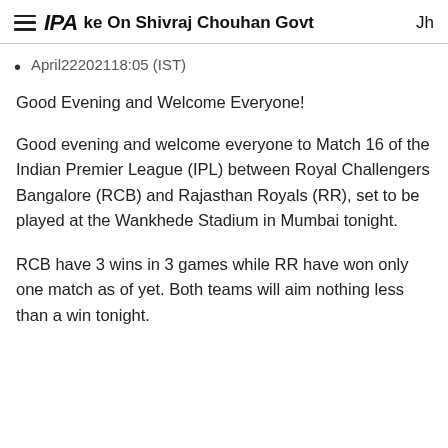IPA ke On Shivraj Chouhan Govt  Jh
April22202118:05 (IST)
Good Evening and Welcome Everyone!
Good evening and welcome everyone to Match 16 of the Indian Premier League (IPL) between Royal Challengers Bangalore (RCB) and Rajasthan Royals (RR), set to be played at the Wankhede Stadium in Mumbai tonight.
RCB have 3 wins in 3 games while RR have won only one match as of yet. Both teams will aim nothing less than a win tonight.